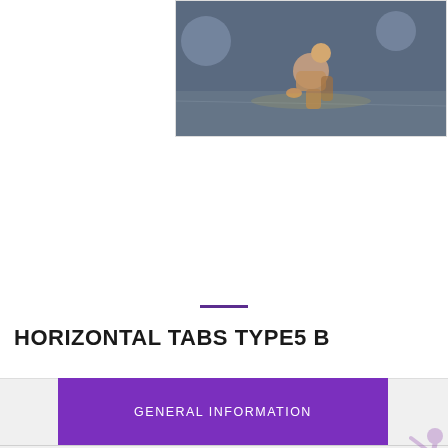[Figure (photo): A person crouching at a starting position on a track, hand touching the ground, blurred athletic background]
HORIZONTAL TABS TYPE5 B
GENERAL INFORMATION
BACKGROUND
CLIENT REVIEWS
[Figure (illustration): Small silhouette illustration of a dancing figure in pinkish/purple tones, bottom right corner]